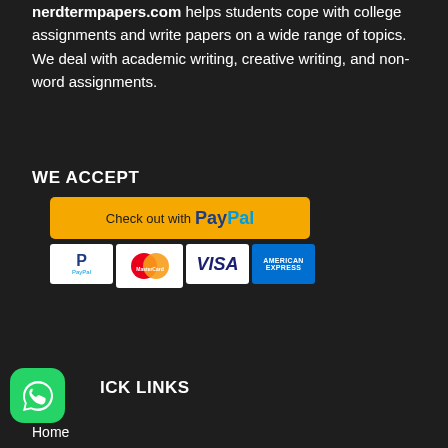nerdtermpapers.com helps students cope with college assignments and write papers on a wide range of topics. We deal with academic writing, creative writing, and non-word assignments.
WE ACCEPT
[Figure (logo): PayPal checkout button (yellow/gold rounded rectangle) with text 'Check out with PayPal', followed by a row of payment card logos: PayPal, MasterCard, VISA, American Express]
[Figure (logo): WhatsApp icon - green rounded square with white phone/chat icon]
QUICK LINKS
Home